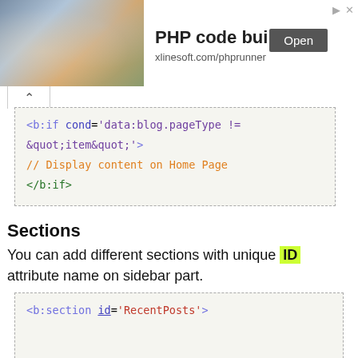[Figure (screenshot): Advertisement banner for PHP code builder at xlinesoft.com/phprunner with photo of person using tablet, Open button, and close/info icons.]
<b:if cond='data:blog.pageType != &quot;item&quot;'>
// Display content on Home Page
</b:if>
Sections
You can add different sections with unique ID attribute name on sidebar part.
<b:section id='RecentPosts'>

</b:section>

<b:section id='MostPopularPosts'>